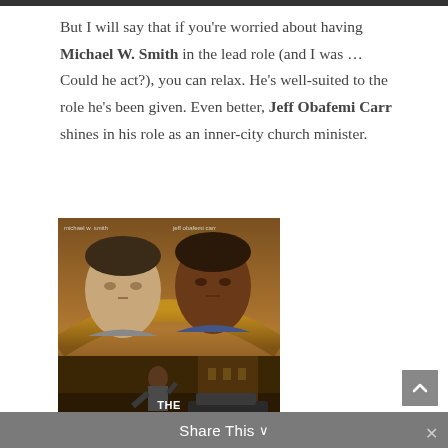But I will say that if you're worried about having Michael W. Smith in the lead role (and I was… Could he act?), you can relax. He's well-suited to the role he's been given. Even better, Jeff Obafemi Carr shines in his role as an inner-city church minister.
[Figure (photo): Movie poster for 'The Second Chance' featuring two men's faces at the top (Michael W. Smith on the left, Jeff Obafemi Carr on the right) against an urban background, with a figure in the lower portion, and text reading 'michael w. smith', 'jeff obafemi carr', 'THE SECOND CHANCE', 'COMING FALL 2005']